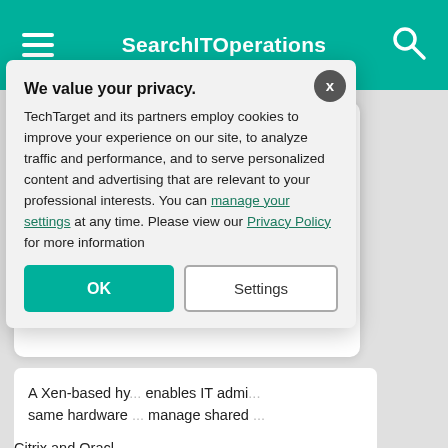SearchITOperations
[Figure (screenshot): Freshworks advertisement card with logo, headline 'Get uninterrupted IT with Freshservice.' and a purple 'Start free trial' button, with a person holding a phone on the right]
A Xen-based hy... enables IT admi... same hardware ... manage shared ...
Citrix and Oracl...
We value your privacy. TechTarget and its partners employ cookies to improve your experience on our site, to analyze traffic and performance, and to serve personalized content and advertising that are relevant to your professional interests. You can manage your settings at any time. Please view our Privacy Policy for more information